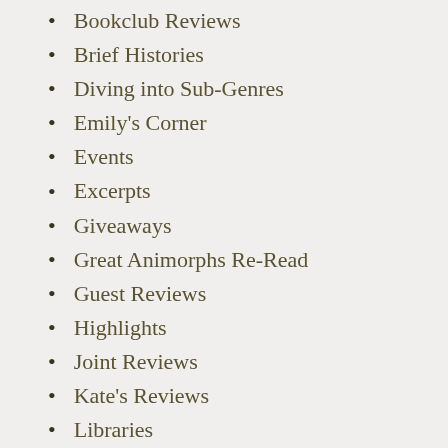Bookclub Reviews
Brief Histories
Diving into Sub-Genres
Emily's Corner
Events
Excerpts
Giveaways
Great Animorphs Re-Read
Guest Reviews
Highlights
Joint Reviews
Kate's Reviews
Libraries
Monthly Marillier
Movie Reviews
My Year with Jane Austen
New Jane Reads